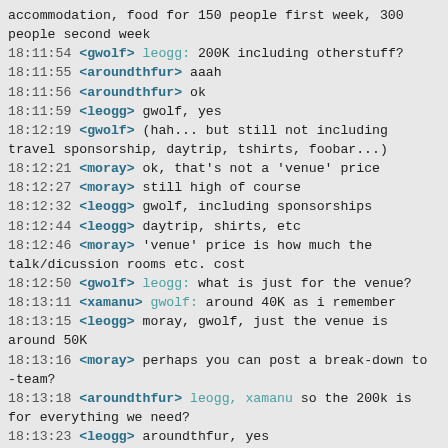accommodation, food for 150 people first week, 300 people second week
18:11:54 <gwolf> leogg: 200K including otherstuff?
18:11:55 <aroundthfur> aaah
18:11:56 <aroundthfur> ok
18:11:59 <leogg> gwolf, yes
18:12:19 <gwolf> (hah... but still not including travel sponsorship, daytrip, tshirts, foobar...)
18:12:21 <moray> ok, that's not a 'venue' price
18:12:27 <moray> still high of course
18:12:32 <leogg> gwolf, including sponsorships
18:12:44 <leogg> daytrip, shirts, etc
18:12:46 <moray> 'venue' price is how much the talk/dicussion rooms etc. cost
18:12:50 <gwolf> leogg: what is just for the venue?
18:13:11 <xamanu> gwolf: around 40K as i remember
18:13:15 <leogg> moray, gwolf, just the venue is around 50K
18:13:16 <moray> perhaps you can post a break-down to -team?
18:13:18 <aroundthfur> leogg, xamanu so the 200k is for everything we need?
18:13:23 <leogg> aroundthfur, yes
18:13:38 <leogg> moray, the preliminary budget is in svn
18:13:41 <aroundthfur> that seems ok-ish i think (if we can get enough sponsors..)
18:14:16 <moray> leogg: right, it's still useful to post to -team for thoughts
18:14:16 <xamanu> venue withour negotiation is $48,990